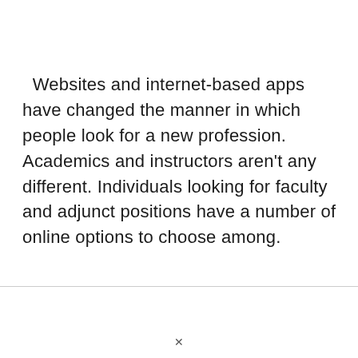Websites and internet-based apps have changed the manner in which people look for a new profession. Academics and instructors aren't any different. Individuals looking for faculty and adjunct positions have a number of online options to choose among.